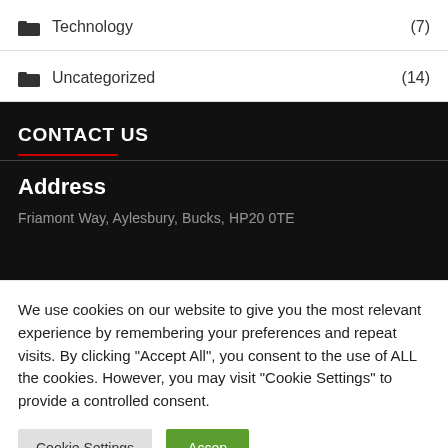Technology (7)
Uncategorized (14)
CONTACT US
Address
Friamont Way, Aylesbury, Bucks, HP20 0TE
We use cookies on our website to give you the most relevant experience by remembering your preferences and repeat visits. By clicking "Accept All", you consent to the use of ALL the cookies. However, you may visit "Cookie Settings" to provide a controlled consent.
Cookie Settings | Accep